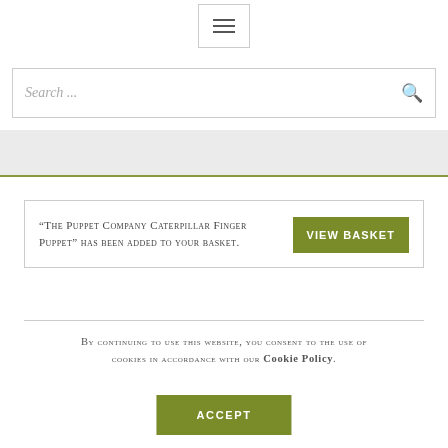[Figure (other): Hamburger menu icon button with three horizontal lines]
[Figure (other): Search input field with magnifying glass icon, placeholder text 'Search ...']
[Figure (other): Grey navigation band with olive green bottom border]
“The Puppet Company Caterpillar Finger Puppet” has been added to your basket.
By continuing to use this website, you consent to the use of cookies in accordance with our Cookie Policy.